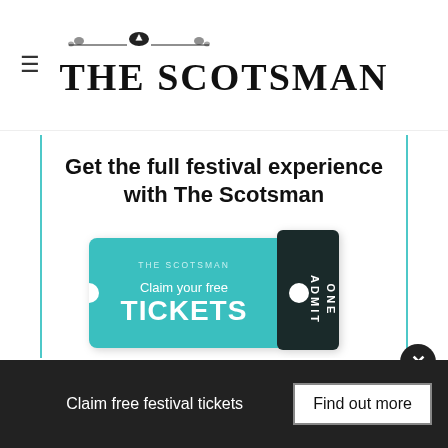THE SCOTSMAN
Get the full festival experience with The Scotsman
[Figure (illustration): Teal ticket graphic with 'THE SCOTSMAN Claim your free TICKETS' and a dark admit-one ticket stub on the right]
Celebrate 75 years of the Edinburgh festival season with exclusive news, review and FREE TICKET GIVEAWAYS.
Try our new flexible payment options
Claim free festival tickets   Find out more